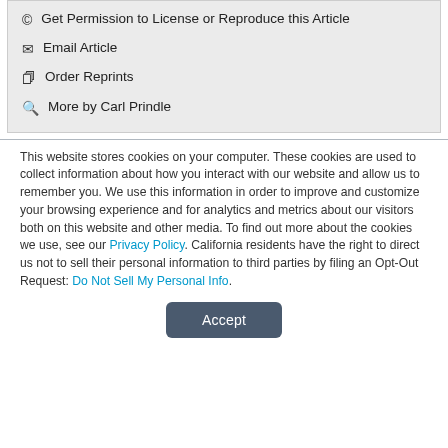© Get Permission to License or Reproduce this Article
✉ Email Article
Order Reprints
🔍 More by Carl Prindle
This website stores cookies on your computer. These cookies are used to collect information about how you interact with our website and allow us to remember you. We use this information in order to improve and customize your browsing experience and for analytics and metrics about our visitors both on this website and other media. To find out more about the cookies we use, see our Privacy Policy. California residents have the right to direct us not to sell their personal information to third parties by filing an Opt-Out Request: Do Not Sell My Personal Info.
Accept